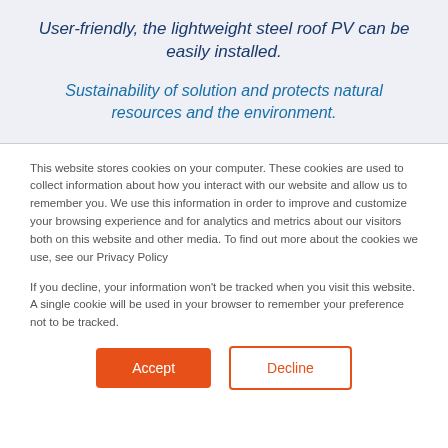User-friendly, the lightweight steel roof PV can be easily installed.
Sustainability of solution and protects natural resources and the environment.
This website stores cookies on your computer. These cookies are used to collect information about how you interact with our website and allow us to remember you. We use this information in order to improve and customize your browsing experience and for analytics and metrics about our visitors both on this website and other media. To find out more about the cookies we use, see our Privacy Policy
If you decline, your information won't be tracked when you visit this website. A single cookie will be used in your browser to remember your preference not to be tracked.
Accept | Decline